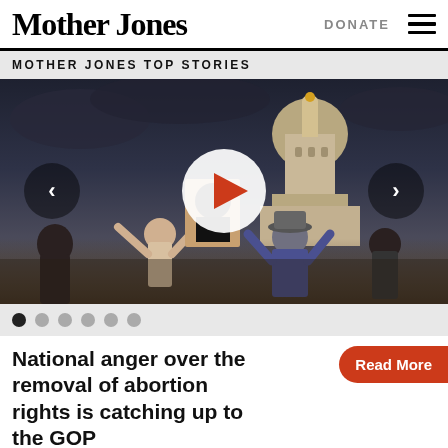Mother Jones | DONATE
MOTHER JONES TOP STORIES
[Figure (photo): Photo of protest rally in front of a capitol building dome, crowd holding signs including a portrait illustration, with dark cloudy sky. Carousel with previous/next arrows and a play button overlay.]
National anger over the removal of abortion rights is catching up to the GOP
Read More